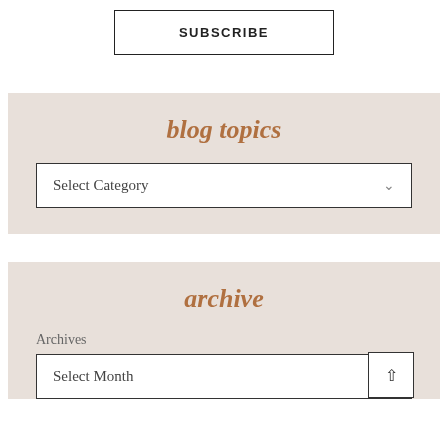SUBSCRIBE
blog topics
Select Category
archive
Archives
Select Month